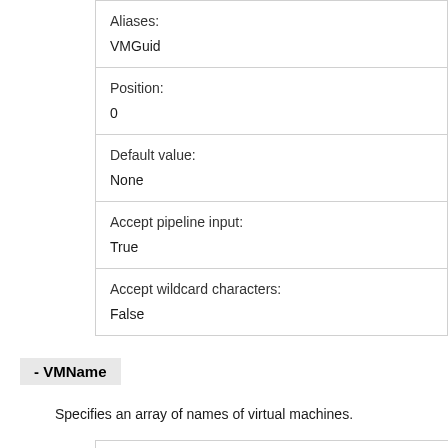| Property | Value |
| --- | --- |
| Aliases: | VMGuid |
| Position: | 0 |
| Default value: | None |
| Accept pipeline input: | True |
| Accept wildcard characters: | False |
- VMName
Specifies an array of names of virtual machines.